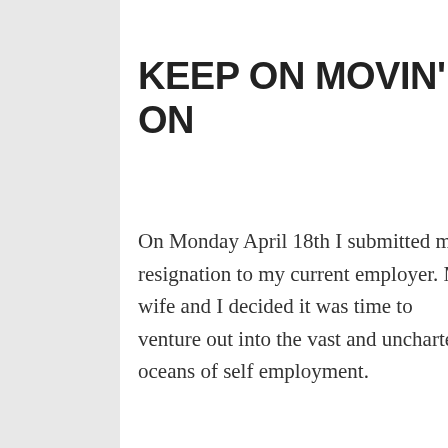KEEP ON MOVIN' ON
On Monday April 18th I submitted my resignation to my current employer. My wife and I decided it was time to venture out into the vast and uncharted oceans of self employment.